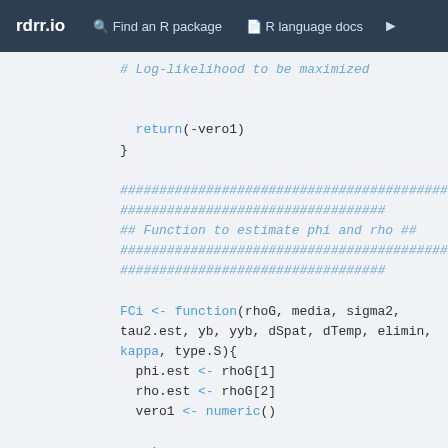rdrr.io   Find an R package   R language docs
# Log-likelihood to be maximized

  return(-vero1)
}

################################################
##################################
## Function to estimate phi and rho ##
################################################
##################################

FCi <- function(rhoG, media, sigma2, tau2.est, yb, yyb, dSpat, dTemp, elimin, kappa, type.S){
  phi.est <- rhoG[1]
  rho.est <- rhoG[2]
  vero1 <- numeric()

  mat <-
CovarianceMatrix(phi.est,rho.est,tau2.est,sigma2,dSpat,dTemp,elimin,kappa,type.S)